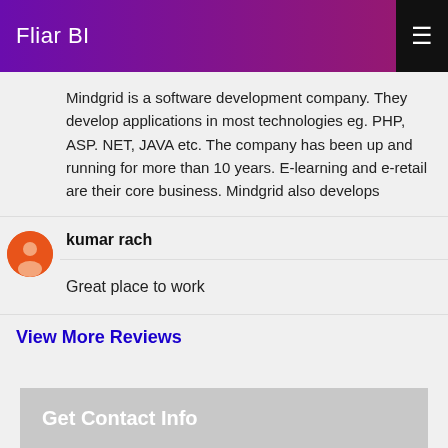Fliar BI
Mindgrid is a software development company. They develop applications in most technologies eg. PHP, ASP. NET, JAVA etc. The company has been up and running for more than 10 years. E-learning and e-retail are their core business. Mindgrid also develops
kumar rach
Great place to work
View More Reviews
Get Contact Info